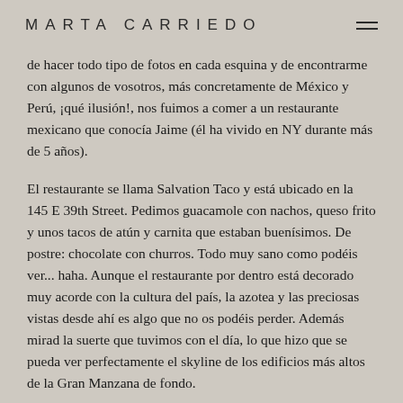MARTA CARRIEDO
de hacer todo tipo de fotos en cada esquina y de encontrarme con algunos de vosotros, más concretamente de México y Perú, ¡qué ilusión!, nos fuimos a comer a un restaurante mexicano que conocía Jaime (él ha vivido en NY durante más de 5 años).
El restaurante se llama Salvation Taco y está ubicado en la 145 E 39th Street. Pedimos guacamole con nachos, queso frito y unos tacos de atún y carnita que estaban buenísimos. De postre: chocolate con churros. Todo muy sano como podéis ver... haha. Aunque el restaurante por dentro está decorado muy acorde con la cultura del país, la azotea y las preciosas vistas desde ahí es algo que no os podéis perder. Además mirad la suerte que tuvimos con el día, lo que hizo que se pueda ver perfectamente el skyline de los edificios más altos de la Gran Manzana de fondo.
Y ya estoy en Madrid aunque sólo por hoy... ¡vaya locura! He deshecho mis maletas de NY y acabo de terminar la de